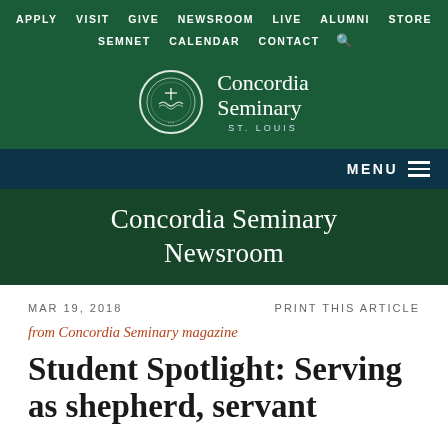APPLY  VISIT  GIVE  NEWSROOM  LIVE  ALUMNI  STORE  SEMNET  CALENDAR  CONTACT
[Figure (logo): Concordia Seminary St. Louis circular seal logo with text 'Concordia Seminary ST. LOUIS']
MENU
Concordia Seminary Newsroom
MAR 19, 2018
PRINT THIS ARTICLE
from Concordia Seminary magazine
Student Spotlight: Serving as shepherd, servant